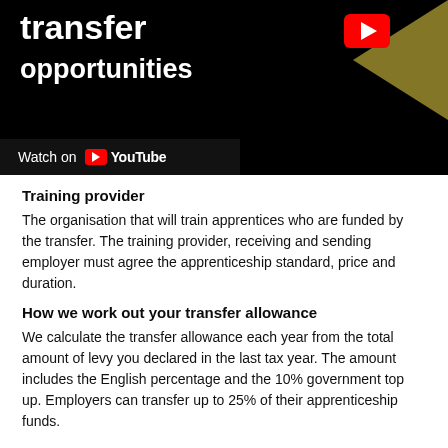[Figure (screenshot): YouTube video thumbnail showing the text 'transfer opportunities' in white on black background, with a YouTube play button icon, a gold/olive colored shape on the right, and a 'Watch on YouTube' bar at the bottom left.]
Training provider
The organisation that will train apprentices who are funded by the transfer. The training provider, receiving and sending employer must agree the apprenticeship standard, price and duration.
How we work out your transfer allowance
We calculate the transfer allowance each year from the total amount of levy you declared in the last tax year. The amount includes the English percentage and the 10% government top up. Employers can transfer up to 25% of their apprenticeship funds.